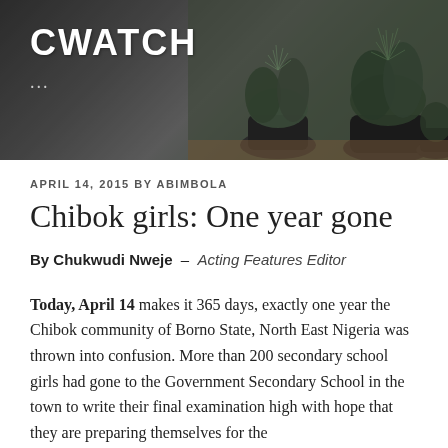[Figure (photo): Header photo of potted succulent/cactus plants on a dark wooden surface with a dark background, overlaid with the blog name CWATCH in large white bold text and ellipsis below.]
CWATCH
...
APRIL 14, 2015 BY ABIMBOLA
Chibok girls: One year gone
By Chukwudi Nweje  –  Acting Features Editor
Today, April 14 makes it 365 days, exactly one year the Chibok community of Borno State, North East Nigeria was thrown into confusion. More than 200 secondary school girls had gone to the Government Secondary School in the town to write their final examination high with hope that they are preparing themselves for the future of tomorrow, higher they will become, of be and of